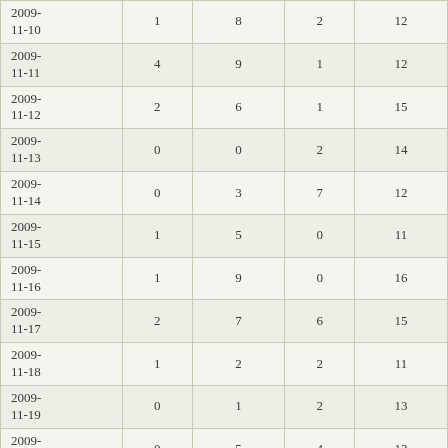| Date |  |  |  |  |
| --- | --- | --- | --- | --- |
| 2009-11-10 | 1 | 8 | 2 | 12 |
| 2009-11-11 | 4 | 9 | 1 | 12 |
| 2009-11-12 | 2 | 6 | 1 | 15 |
| 2009-11-13 | 0 | 0 | 2 | 14 |
| 2009-11-14 | 0 | 3 | 7 | 12 |
| 2009-11-15 | 1 | 5 | 0 | 11 |
| 2009-11-16 | 1 | 9 | 0 | 16 |
| 2009-11-17 | 2 | 7 | 6 | 15 |
| 2009-11-18 | 1 | 2 | 2 | 11 |
| 2009-11-19 | 0 | 1 | 2 | 13 |
| 2009-11-20 | 0 | 5 | 4 | 12 |
| 2009-11-21 | 4 | 12 | 4 | 13 |
| 2009-11-22 | 0 | 2 | 3 | 13 |
| 2009-11-23 | 2 | 4 | 1 | 14 |